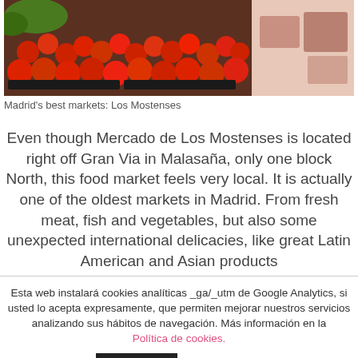[Figure (photo): Photo of a market stall with red tomatoes in black trays, and other produce visible in the background.]
Madrid's best markets: Los Mostenses
Even though Mercado de Los Mostenses is located right off Gran Via in Malasaña, only one block North, this food market feels very local. It is actually one of the oldest markets in Madrid. From fresh meat, fish and vegetables, but also some unexpected international delicacies, like great Latin American and Asian products
Esta web instalará cookies analíticas _ga/_utm de Google Analytics, si usted lo acepta expresamente, que permiten mejorar nuestros servicios analizando sus hábitos de navegación. Más información en la Política de cookies.
Accept
Read More